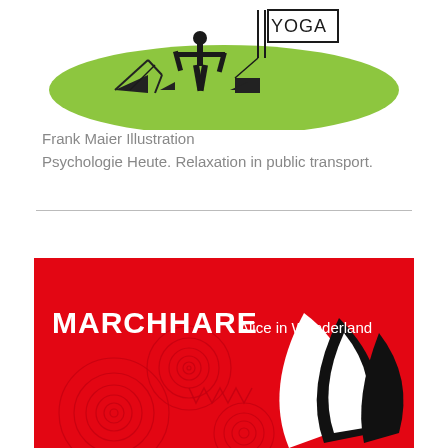[Figure (illustration): A yoga illustration showing a figure in a yoga pose on a green elliptical mat/ground, with the word YOGA in a rectangle to the right. Geometric, minimal line-art style with black silhouette figures and green ground.]
Frank Maier Illustration
Psychologie Heute. Relaxation in public transport.
[Figure (illustration): A red background illustration with bold white text reading 'MARCHHARE Alice in Wonderland'. Large white and black leaf/petal shapes on the right, and decorative red concentric circle spirals and a zigzag/triangle geometric element on the left side.]